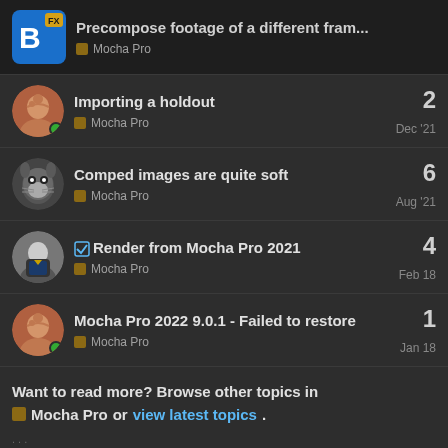Precompose footage of a different fram... — Mocha Pro
Importing a holdout — Mocha Pro — 2 replies — Dec '21
Comped images are quite soft — Mocha Pro — 6 replies — Aug '21
✓ Render from Mocha Pro 2021 — Mocha Pro — 4 replies — Feb 18
Mocha Pro 2022 9.0.1 - Failed to restore — Mocha Pro — 1 reply — Jan 18
Want to read more? Browse other topics in Mocha Pro or view latest topics.